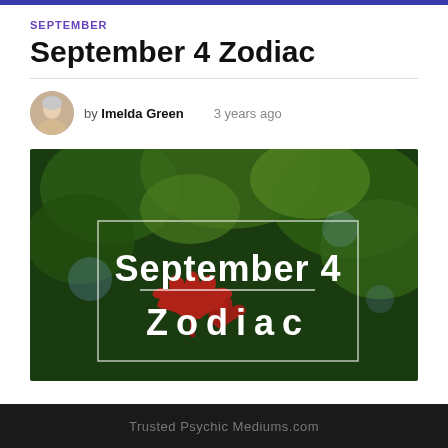SEPTEMBER
September 4 Zodiac
by Imelda Green   3 years ago
[Figure (photo): Dark green leafy background with a red maple leaf, overlaid with white text reading 'September 4 Zodiac' inside a rectangular border]
Trusted Psychic Mediums.com